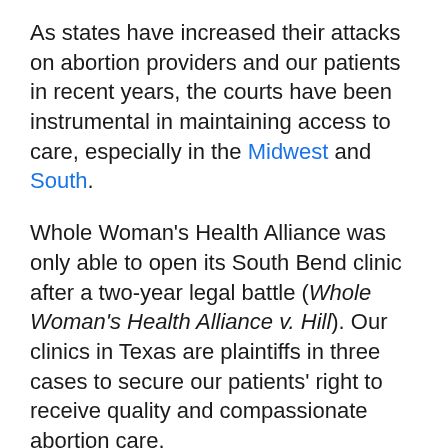As states have increased their attacks on abortion providers and our patients in recent years, the courts have been instrumental in maintaining access to care, especially in the Midwest and South.
Whole Woman's Health Alliance was only able to open its South Bend clinic after a two-year legal battle (Whole Woman's Health Alliance v. Hill). Our clinics in Texas are plaintiffs in three cases to secure our patients' right to receive quality and compassionate abortion care.
The Fifth Circuit Court of Appeals recently ruled in Whole Woman's Health v. Paxton to strike down a Texas measure that would have banned the standard, preferred method for abortions after approximately 15 weeks of